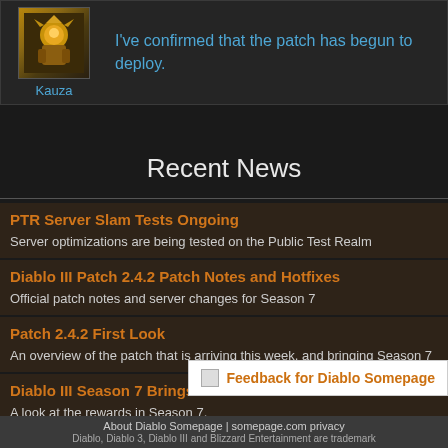[Figure (screenshot): Avatar image of a Diablo character (golden/orange hue) next to username Kauza]
I've confirmed that the patch has begun to deploy.
Kauza
Recent News
PTR Server Slam Tests Ongoing
Server optimizations are being tested on the Public Test Realm
Diablo III Patch 2.4.2 Patch Notes and Hotfixes
Official patch notes and server changes for Season 7
Patch 2.4.2 First Look
An overview of the patch that is arriving this week, and bringing Season 7
Diablo III Season 7 Brings New Cosmetic Rewards
A look at the rewards in Season 7,
Feedback for Diablo Somepage
About Diablo Somepage | somepage.com privacy
Diablo, Diablo 3, Diablo III and Blizzard Entertainment are trademark